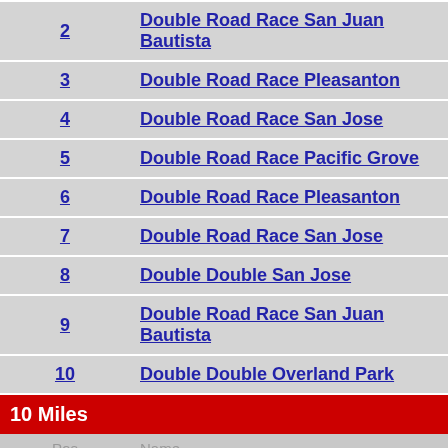| Pos | Name |
| --- | --- |
| 2 | Double Road Race San Juan Bautista |
| 3 | Double Road Race Pleasanton |
| 4 | Double Road Race San Jose |
| 5 | Double Road Race Pacific Grove |
| 6 | Double Road Race Pleasanton |
| 7 | Double Road Race San Jose |
| 8 | Double Double San Jose |
| 9 | Double Road Race San Juan Bautista |
| 10 | Double Double Overland Park |
10 Miles
| Pos | Name |
| --- | --- |
| 1 | Credit Union SACTOWN Run |
| 2 | Credit Union SACTOWN Run |
| 3 | Nor Cal John Frank Memorial |
| 4 | Run Walnut Creek |